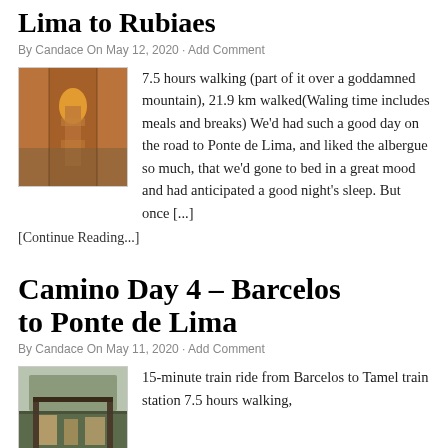Lima to Rubiaes
By Candace On May 12, 2020 · Add Comment
[Figure (photo): Photo of a bottle with light shining through it on a wooden table]
7.5 hours walking (part of it over a goddamned mountain), 21.9 km walked(Waling time includes meals and breaks) We'd had such a good day on the road to Ponte de Lima, and liked the albergue so much, that we'd gone to bed in a great mood and had anticipated a good night's sleep. But once [...]
[Continue Reading...]
Camino Day 4 – Barcelos to Ponte de Lima
By Candace On May 11, 2020 · Add Comment
[Figure (photo): Photo of a covered outdoor area or train station]
15-minute train ride from Barcelos to Tamel train station 7.5 hours walking,